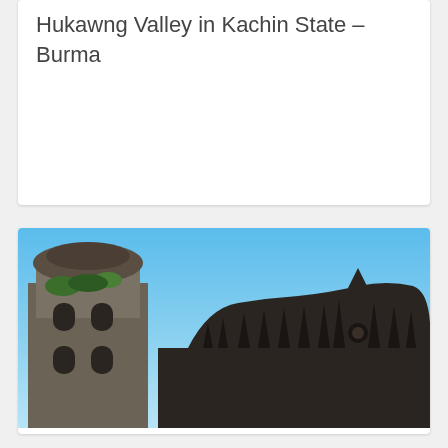Hukawng Valley in Kachin State – Burma
[Figure (photo): Photograph of San Agustin Church in Ilocos Norte, Philippines – showing a stone bell tower on the left and a silhouetted ornate church facade against a bright blue sky]
San Agustin Church in Ilocos Norte – Philippines